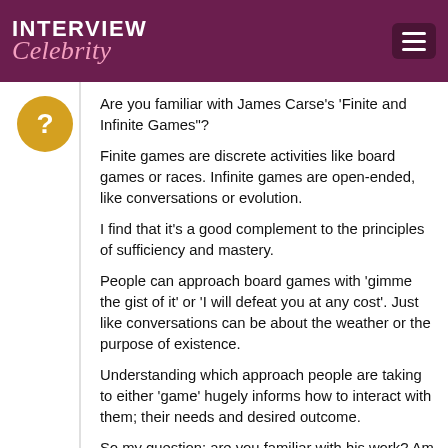INTERVIEW Celebrity
Are you familiar with James Carse's 'Finite and Infinite Games"?
Finite games are discrete activities like board games or races. Infinite games are open-ended, like conversations or evolution.
I find that it's a good complement to the principles of sufficiency and mastery.
People can approach board games with 'gimme the gist of it' or 'I will defeat you at any cost'. Just like conversations can be about the weather or the purpose of existence.
Understanding which approach people are taking to either 'game' hugely informs how to interact with them; their needs and desired outcome.
So my question: are you familiar with his work? Am I crazy to think that it complements your own?
kaythetall